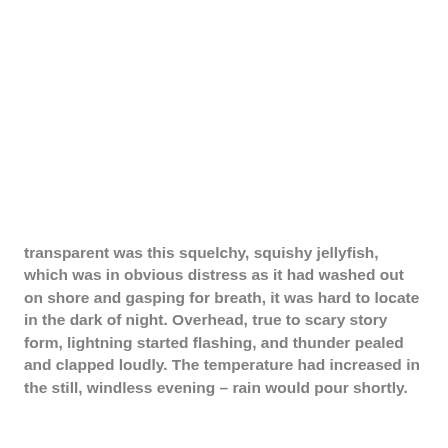transparent was this squelchy, squishy jellyfish, which was in obvious distress as it had washed out on shore and gasping for breath, it was hard to locate in the dark of night. Overhead, true to scary story form, lightning started flashing, and thunder pealed and clapped loudly. The temperature had increased in the still, windless evening – rain would pour shortly.